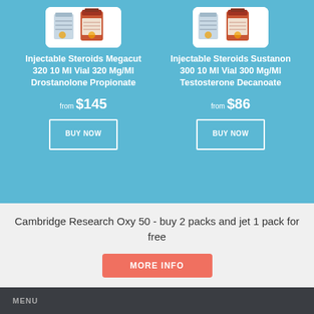[Figure (photo): Product image of Injectable Steroids Megacut 320 vial]
Injectable Steroids Megacut 320 10 Ml Vial 320 Mg/Ml Drostanolone Propionate
from $145
BUY NOW
[Figure (photo): Product image of Injectable Steroids Sustanon 300 vial]
Injectable Steroids Sustanon 300 10 Ml Vial 300 Mg/Ml Testosterone Decanoate
from $86
BUY NOW
Cambridge Research Oxy 50 - buy 2 packs and jet 1 pack for free
MORE INFO
MENU